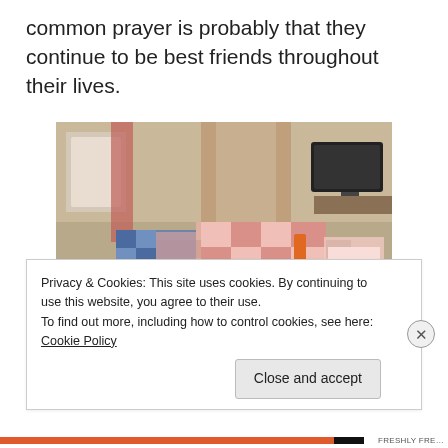common prayer is probably that they continue to be best friends throughout their lives.
[Figure (photo): Group of children sitting and kneeling on the floor of a bedroom, with a fort made of chairs and colorful quilts/blankets behind them. A TV is visible in the background.]
Privacy & Cookies: This site uses cookies. By continuing to use this website, you agree to their use.
To find out more, including how to control cookies, see here: Cookie Policy
Close and accept